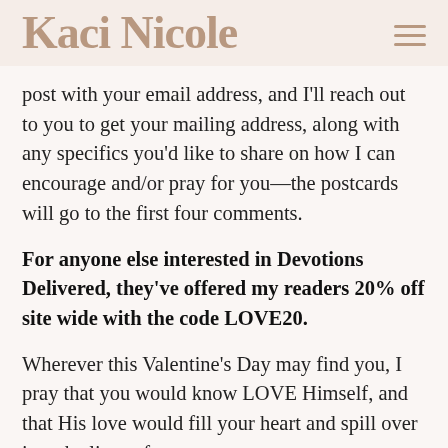Kaci Nicole
post with your email address, and I'll reach out to you to get your mailing address, along with any specifics you'd like to share on how I can encourage and/or pray for you—the postcards will go to the first four comments.
For anyone else interested in Devotions Delivered, they've offered my readers 20% off site wide with the code LOVE20.
Wherever this Valentine's Day may find you, I pray that you would know LOVE Himself, and that His love would fill your heart and spill over into the lives of